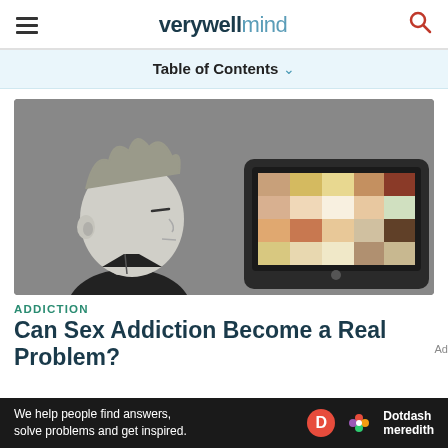verywell mind
Table of Contents ∨
[Figure (illustration): Cartoon illustration of a person with grey hair looking at a computer monitor displaying a grid of colored squares on a grey background]
ADDICTION
Can Sex Addiction Become a Real Problem?
We help people find answers, solve problems and get inspired. Dotdash meredith